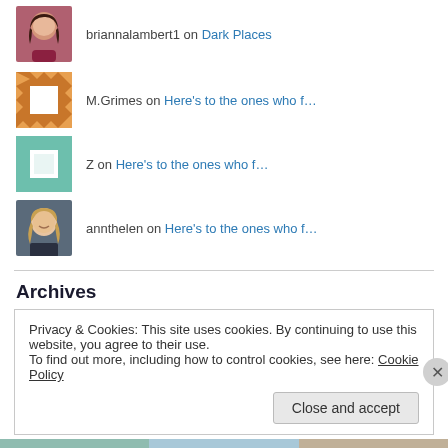[Figure (photo): Profile photo of briannalambert1 – woman with dark hair, maroon top]
briannalambert1 on Dark Places
[Figure (illustration): Avatar for M.Grimes – geometric orange/brown pattern]
M.Grimes on Here's to the ones who f…
[Figure (illustration): Avatar for Z – geometric green/white pattern]
Z on Here's to the ones who f…
[Figure (photo): Profile photo of annthelen – woman with blonde hair, smiling]
annthelen on Here's to the ones who f…
Archives
Privacy & Cookies: This site uses cookies. By continuing to use this website, you agree to their use.
To find out more, including how to control cookies, see here: Cookie Policy
Close and accept